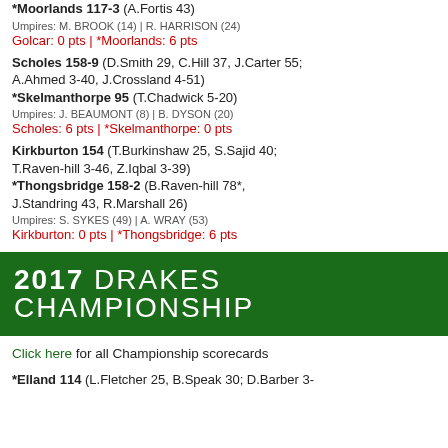*Moorlands 117-3 (A.Fortis 43)
Umpires: M. BROOK (14) | R. HARRISON (24)
Golcar: 0 pts | *Moorlands: 6 pts
Scholes 158-9 (D.Smith 29, C.Hill 37, J.Carter 55; A.Ahmed 3-40, J.Crossland 4-51) *Skelmanthorpe 95 (T.Chadwick 5-20)
Umpires: J. BEAUMONT (8) | B. DYSON (20)
Scholes: 6 pts | *Skelmanthorpe: 0 pts
Kirkburton 154 (T.Burkinshaw 25, S.Sajid 40; T.Raven-hill 3-46, Z.Iqbal 3-39) *Thongsbridge 158-2 (B.Raven-hill 78*, J.Standring 43, R.Marshall 26)
Umpires: S. SYKES (49) | A. WRAY (53)
Kirkburton: 0 pts | *Thongsbridge: 6 pts
2017 DRAKES CHAMPIONSHIP
Click here for all Championship scorecards
*Elland 114 (L.Fletcher 25, B.Speak 30; D.Barber 3-